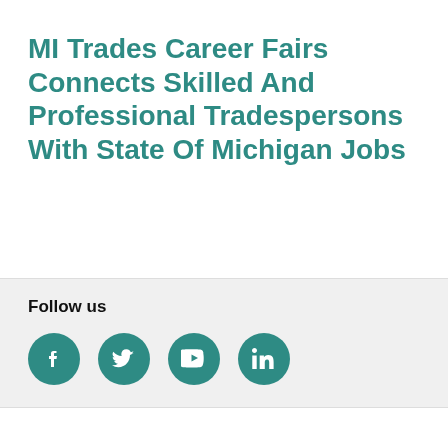MI Trades Career Fairs Connects Skilled And Professional Tradespersons With State Of Michigan Jobs
Follow us
[Figure (infographic): Four teal circular social media icons: Facebook, Twitter, YouTube, LinkedIn]